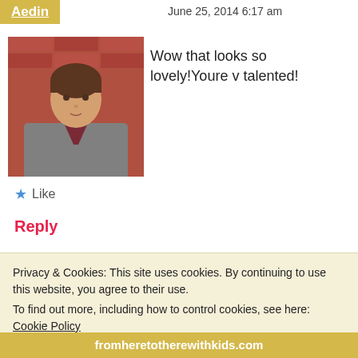Aedin   June 25, 2014 6:17 am
[Figure (photo): Profile photo of a young woman with short hair wearing a gray jacket, standing in front of a brick wall]
Wow that looks so lovely!Youre v talented!
★ Like
Reply
ciwin22   June 25, 2014 6:20 am
[Figure (photo): Small blog avatar image with decorative floral/botanical design and text 'The Little House']
Thank you Aedín, not sure about talented but I love making things!
Privacy & Cookies: This site uses cookies. By continuing to use this website, you agree to their use.
To find out more, including how to control cookies, see here: Cookie Policy
Close and accept
fromheretotherewithkids.com